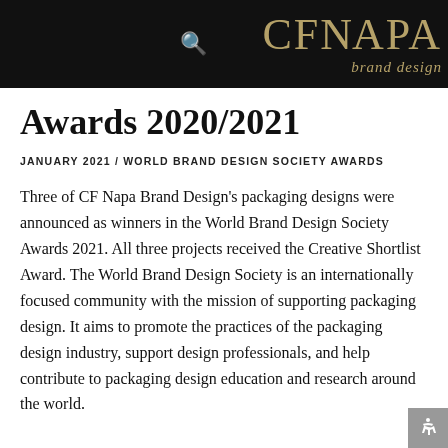CF NAPA brand design
Awards 2020/2021
JANUARY 2021 / WORLD BRAND DESIGN SOCIETY AWARDS
Three of CF Napa Brand Design's packaging designs were announced as winners in the World Brand Design Society Awards 2021. All three projects received the Creative Shortlist Award. The World Brand Design Society is an internationally focused community with the mission of supporting packaging design. It aims to promote the practices of the packaging design industry, support design professionals, and help contribute to packaging design education and research around the world.